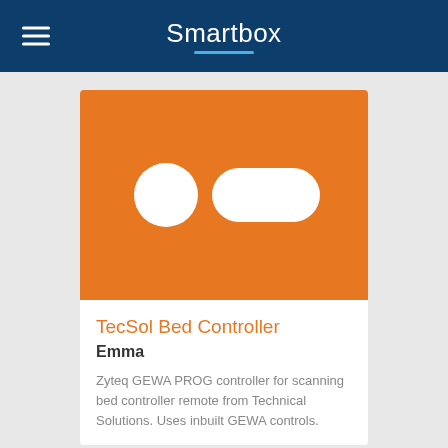Smartbox
[Figure (logo): Orange product image with a white circle and white rounded rectangle pill shape side by side, representing a bed controller device icon]
TecSol Bed Controller
Emma
Zyteq GEWA PROG controller for scanning bed controller remote from Technical Solutions. Uses inbuilt GEWA controls.